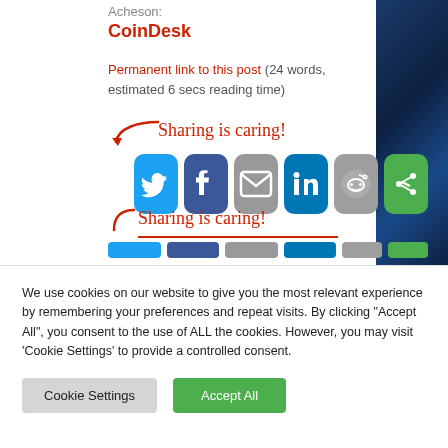Acheson:
CoinDesk
Permanent link to this post (24 words, estimated 6 secs reading time)
[Figure (infographic): Sharing is caring! text with arrow and social media share buttons: Twitter, Facebook, Email, LinkedIn, Reddit, and a green share icon]
[Figure (infographic): Second 'Sharing is caring!' label with underline and partial social share button row at bottom]
We use cookies on our website to give you the most relevant experience by remembering your preferences and repeat visits. By clicking "Accept All", you consent to the use of ALL the cookies. However, you may visit 'Cookie Settings' to provide a controlled consent.
Cookie Settings
Accept All